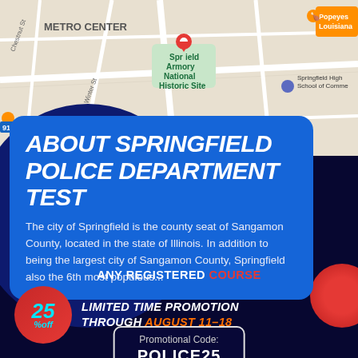[Figure (map): Google Maps screenshot showing Springfield Armory National Historic Site with a red location pin, Metro Center label, surrounding streets, Springfield High School of Commerce, and Popeyes Louisiana restaurant icon visible]
ABOUT SPRINGFIELD POLICE DEPARTMENT TEST
The city of Springfield is the county seat of Sangamon County, located in the state of Illinois. In addition to being the largest city of Sangamon County, Springfield also the 6th most populous...
ANY REGISTERED COURSE
25% off LIMITED TIME PROMOTION THROUGH AUGUST 11-18
Promotional Code: POLICE25